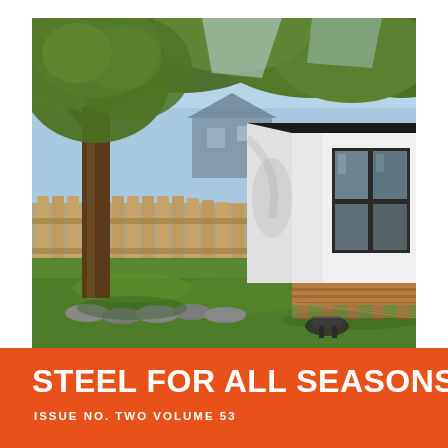[Figure (photo): Exterior photograph of a modern white steel garden studio or backyard structure with a dark flat roof and large black-framed windows, set in a lush green backyard with a large tree in the foreground, a wooden picket fence, green lawn, stone border edging, and a brick house visible in the background under blue sky with leafy trees.]
STEEL FOR ALL SEASONS
ISSUE NO. TWO VOLUME 53